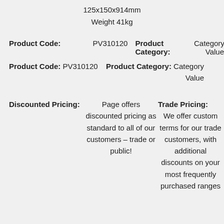125x150x914mm
Weight 41kg
Product Code: PV310120   Product Category: Category Value
Discounted Pricing:   Page offers discounted pricing as standard to all of our customers – trade or public!   Trade Pricing:   We offer custom terms for our trade customers, with additional discounts on your most frequently purchased ranges